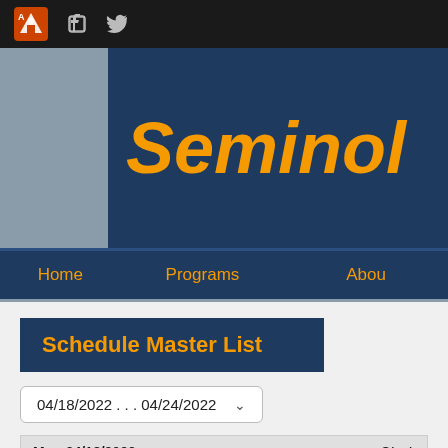[Figure (screenshot): Top navigation bar with logo icon, Facebook icon, and Twitter icon on dark background]
Seminol
Home   Programs   About
Schedule Master List
04/18/2022 . . . 04/24/2022
| Mon 04/18/2022 | Start |
| --- | --- |
| Charlottesville, Washington Park (strikethrough) | 5:30p (strikethrough) |
| Wed 04/20/2022 | St... |